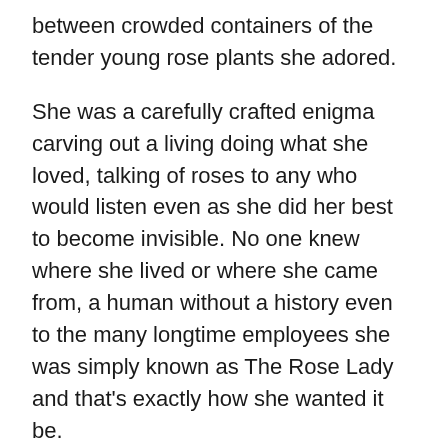between crowded containers of the tender young rose plants she adored.
She was a carefully crafted enigma carving out a living doing what she loved, talking of roses to any who would listen even as she did her best to become invisible. No one knew where she lived or where she came from, a human without a history even to the many longtime employees she was simply known as The Rose Lady and that's exactly how she wanted it be.
No one knew she wrote either but him, writing page after page of tightly composed hand penned black inked script, the penmanship so disciplined almost machine like and impossible to decipher except by her, exactly how she wanted it to be. Her stories each accompanied an intricate impossibly detailed companion pen and ink drawing, the